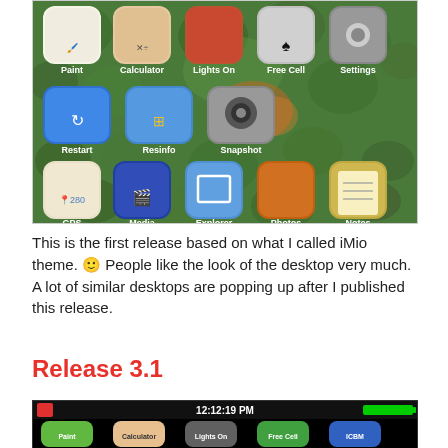[Figure (screenshot): Mobile device home screen with iOS-style icons on a green sea anemone/clownfish background. Icons include Paint, Calculator, Lights On, Free Cell, Settings (top row), Restart, Resinfo, Snapshot (middle row), GPS, Media, Explorer, Photos, Notes (bottom row).]
This is the first release based on what I called iMio theme. 🙂 People like the look of the desktop very much. A lot of similar desktops are popping up after I published this release.
Release 3.1
[Figure (screenshot): Mobile device home screen with black background showing status bar with time 12:12:19 PM and green battery indicator. Icons visible: Paint, Calculator, Lights On, Free Cell, ICBM (partial view of next row at bottom).]